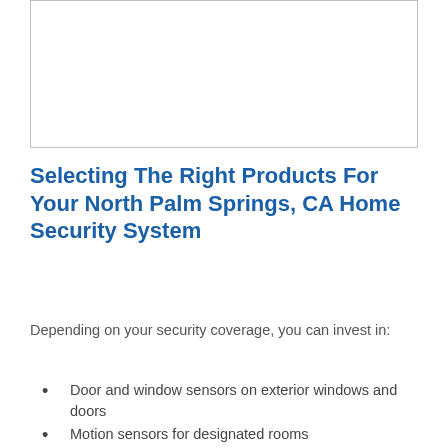[Figure (other): Empty white box with light gray border, likely placeholder for an image]
Selecting The Right Products For Your North Palm Springs, CA Home Security System
Depending on your security coverage, you can invest in:
Door and window sensors on exterior windows and doors
Motion sensors for designated rooms